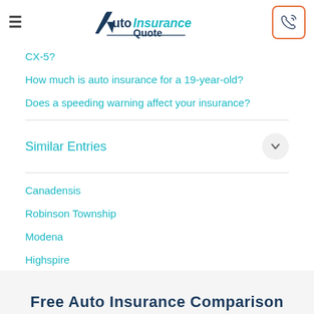AutoInsuranceQuote
CX-5?
How much is auto insurance for a 19-year-old?
Does a speeding warning affect your insurance?
Similar Entries
Canadensis
Robinson Township
Modena
Highspire
Free Auto Insurance Comparison